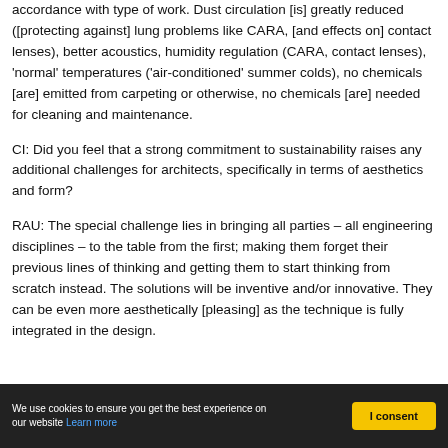accordance with type of work. Dust circulation [is] greatly reduced ([protecting against] lung problems like CARA, [and effects on] contact lenses), better acoustics, humidity regulation (CARA, contact lenses), 'normal' temperatures ('air-conditioned' summer colds), no chemicals [are] emitted from carpeting or otherwise, no chemicals [are] needed for cleaning and maintenance.
CI: Did you feel that a strong commitment to sustainability raises any additional challenges for architects, specifically in terms of aesthetics and form?
RAU: The special challenge lies in bringing all parties – all engineering disciplines – to the table from the first; making them forget their previous lines of thinking and getting them to start thinking from scratch instead. The solutions will be inventive and/or innovative. They can be even more aesthetically [pleasing] as the technique is fully integrated in the design.
We use cookies to ensure you get the best experience on our website Learn more | I consent